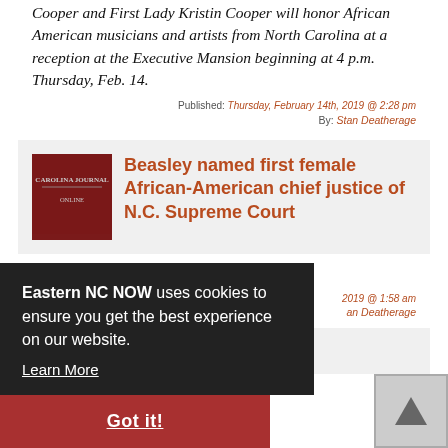Cooper and First Lady Kristin Cooper will honor African American musicians and artists from North Carolina at a reception at the Executive Mansion beginning at 4 p.m. Thursday, Feb. 14.
Published: Thursday, February 14th, 2019 @ 2:28 pm
By: Stan Deatherage
Beasley named first female African-American chief justice of N.C. Supreme Court
e N.C.
2019 @ 1:58 am
an Deatherage
Eastern NC NOW uses cookies to ensure you get the best experience on our website. Learn More
Got it!